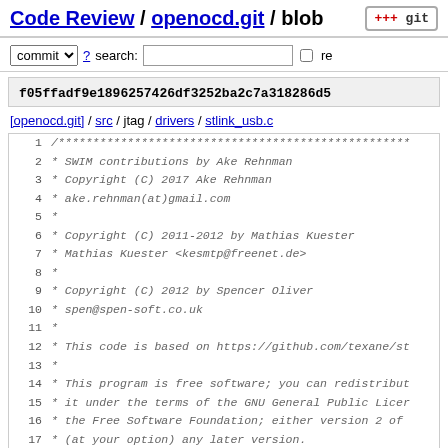Code Review / openocd.git / blob
commit ? search: [ ] re
f05ffadf9e1896257426df3252ba2c7a318286d5
[openocd.git] / src / jtag / drivers / stlink_usb.c
1 /***...
2 *    SWIM contributions by Ake Rehnman
3 *    Copyright (C) 2017  Ake Rehnman
4 *    ake.rehnman(at)gmail.com
5 *
6 *    Copyright (C) 2011-2012 by Mathias Kuester
7 *    Mathias Kuester <kesmtp@freenet.de>
8 *
9 *    Copyright (C) 2012 by Spencer Oliver
10 *   spen@spen-soft.co.uk
11 *
12 *   This code is based on https://github.com/texane/st
13 *
14 *   This program is free software; you can redistribut
15 *   it under the terms of the GNU General Public Licer
16 *   the Free Software Foundation; either version 2 of
17 *   (at your option) any later version.
18 *
19 *   This program is distributed in the hope that it wi
20 *   but WITHOUT ANY WARRANTY; without even the implied
21 *   MERCHANTABILITY -- FITNESS FOR A PARTICULAR PURPOS